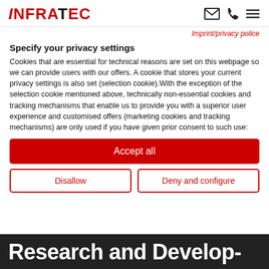InfraTec [logo with icons: email, phone, menu]
Imprint/privacy police
Specify your privacy settings
Cookies that are essential for technical reasons are set on this webpage so we can provide users with our offers. A cookie that stores your current privacy settings is also set (selection cookie).With the exception of the selection cookie mentioned above, technically non-essential cookies and tracking mechanisms that enable us to provide you with a superior user experience and customised offers (marketing cookies and tracking mechanisms) are only used if you have given prior consent to such use:
Accept all
Disallow
Deny and configure
Research and Develop-